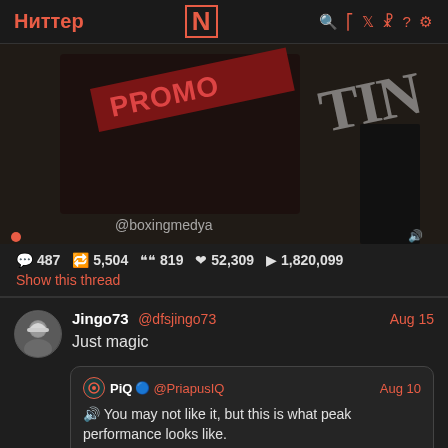Ниттер N 🔍 ⚡ 🐦 ♻ ? ⚙
[Figure (screenshot): Video thumbnail showing boxing/sports promotional content with @boxingmedya watermark, red banner with text, dark background]
💬 487  🔁 5,504  " 819  ❤ 52,309  ▶ 1,820,099
Show this thread
Jingo73 @dfsjingo73  Aug 15
Just magic
PiQ 🔵 @PriapusIQ  Aug 10
🔊 You may not like it, but this is what peak performance looks like.
Show this thread
[Figure (photo): Thumbnail image of an older man with light/blonde hair wearing sunglasses, outdoors with greenery in background]